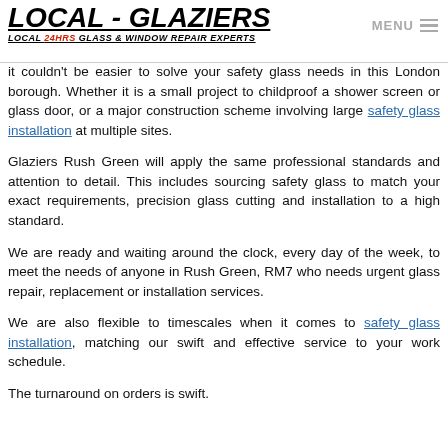LOCAL - GLAZIERS
LOCAL 24HRS GLASS & WINDOW REPAIR EXPERTS
It couldn't be easier to solve your safety glass needs in this London borough. Whether it is a small project to childproof a shower screen or glass door, or a major construction scheme involving large safety glass installation at multiple sites.
Glaziers Rush Green will apply the same professional standards and attention to detail. This includes sourcing safety glass to match your exact requirements, precision glass cutting and installation to a high standard.
We are ready and waiting around the clock, every day of the week, to meet the needs of anyone in Rush Green, RM7 who needs urgent glass repair, replacement or installation services.
We are also flexible to timescales when it comes to safety glass installation, matching our swift and effective service to your work schedule.
The turnaround on orders is swift.